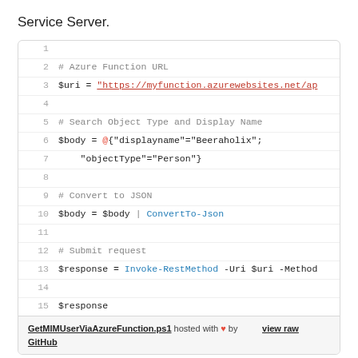Service Server.
[Figure (screenshot): Code snippet box showing PowerShell script lines 1-15: Azure Function URL, $uri assignment, Search Object Type and Display Name, $body assignment with @{displayname=Beeraholix; objectType=Person}, Convert to JSON, $body = $body | ConvertTo-Json, Submit request, $response = Invoke-RestMethod -Uri $uri -Method, $response. Footer: GetMIMUserViaAzureFunction.ps1 hosted with heart by GitHub, view raw link.]